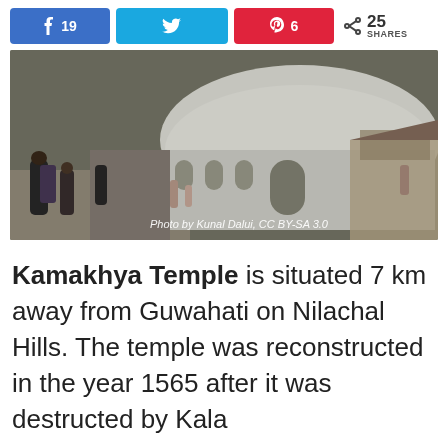[Figure (infographic): Social share bar with Facebook (19), Twitter, Pinterest (6) buttons and 25 SHARES count]
[Figure (photo): Aerial/elevated view of Kamakhya Temple, a white domed structure on Nilachal Hills, Guwahati. Photo credit: Photo by Kunal Dalui, CC BY-SA 3.0]
Kamakhya Temple is situated 7 km away from Guwahati on Nilachal Hills. The temple was reconstructed in the year 1565 after it was destructed by Kala